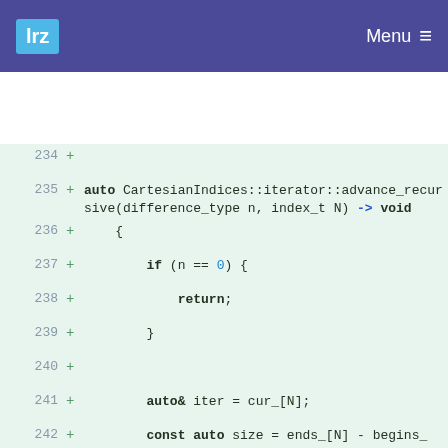lrz  Menu
234  +
235  +      auto CartesianIndices::iterator::advance_recursive(difference_type n, index_t N) -> void
236  +      {
237  +          if (n == 0) {
238  +              return;
239  +          }
240  +
241  +          auto& iter = cur_[N];
242  +          const auto size = ends_[N] - begins_[N];
243  +          const auto first = begins_[N];
244  +
245  +          auto const idx = as<difference_type>(iter - first);
246  +          n += idx;
247  +